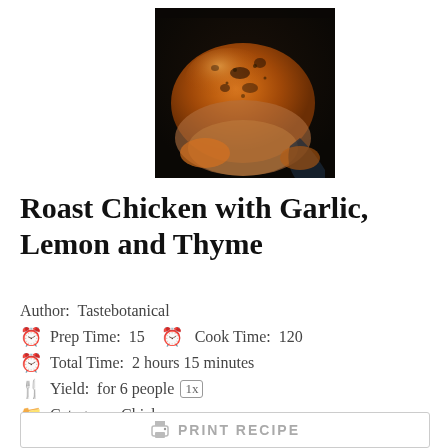[Figure (photo): A roasted chicken with herbs and spices on a dark background]
Roast Chicken with Garlic, Lemon and Thyme
Author: Tastebotanical
Prep Time: 15  Cook Time: 120
Total Time: 2 hours 15 minutes
Yield: for 6 people 1x
Category: Chicken
Cuisine: English
PRINT RECIPE